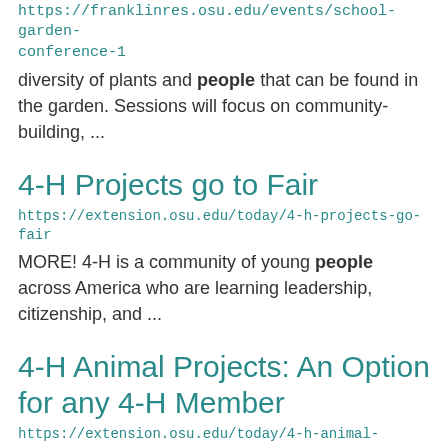https://franklinres.osu.edu/events/school-garden-conference-1
diversity of plants and people that can be found in the garden. Sessions will focus on community-building, ...
4-H Projects go to Fair
https://extension.osu.edu/today/4-h-projects-go-fair
MORE! 4-H is a community of young people across America who are learning leadership, citizenship, and ...
4-H Animal Projects: An Option for any 4-H Member
https://extension.osu.edu/today/4-h-animal-